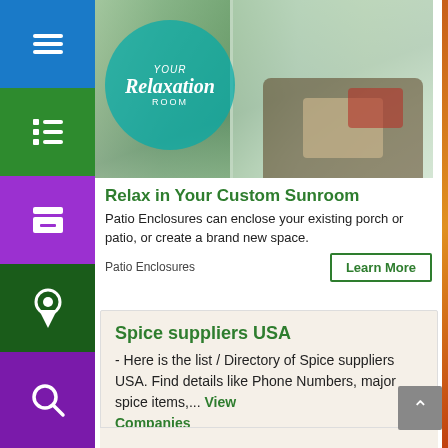[Figure (photo): Sunroom advertisement photo with teal circle overlay reading 'Your Relaxation Room', showing wicker furniture with cushions inside an enclosed sunroom/patio]
Relax in Your Custom Sunroom
Patio Enclosures can enclose your existing porch or patio, or create a brand new space.
Patio Enclosures
Spice suppliers USA
- Here is the list / Directory of Spice suppliers USA. Find details like Phone Numbers, major spice items,... View Companies